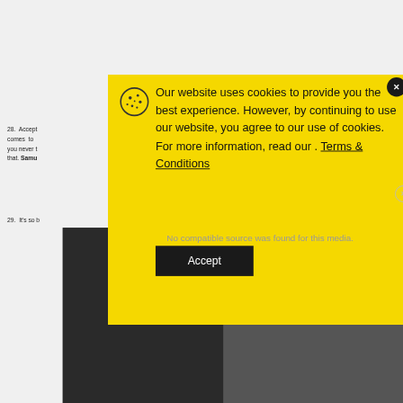28. Accept… comes to you never t… that. Samu…
29. It's so b…
[Figure (screenshot): Cookie consent modal popup with yellow background showing cookie icon, text about website cookie usage with Terms & Conditions link, and a dark Accept button. Background shows partially visible numbered list items and a media player with 'No compatible source was found for this media.' message.]
Our website uses cookies to provide you the best experience. However, by continuing to use our website, you agree to our use of cookies. For more information, read our Terms & Conditions
No compatible source was found for this media.
Accept